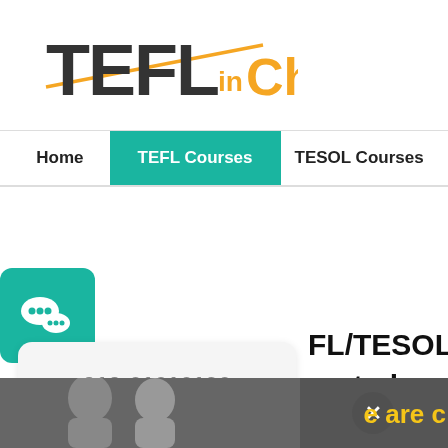[Figure (logo): TEFL in China logo — 'TEFL' in dark gray bold, 'in' in orange, 'China' in orange, with a yellow/orange swoosh line accent]
Home | TEFL Courses | TESOL Courses
[Figure (illustration): Teal/green rounded square WeChat icon with two overlapping speech bubble faces]
010-61616196
Hotline & Wechat
FL/TESOL in China em
ou to be more than wh
imagined yourself to
[Figure (photo): Two people (man and woman) smiling in dark background strip at the bottom]
e are c